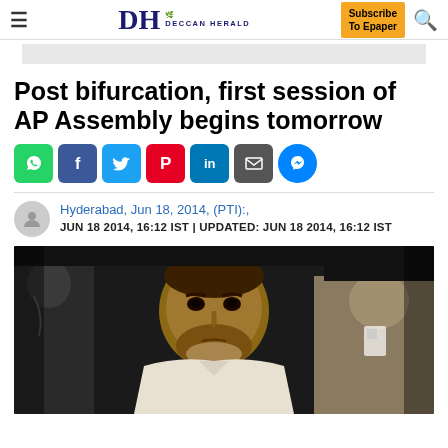DH DECCAN HERALD | Subscribe To Epaper
Post bifurcation, first session of AP Assembly begins tomorrow
[Figure (illustration): Social media sharing icons row: WhatsApp, Facebook, Twitter, Pinterest, LinkedIn, Email, Messenger]
Hyderabad, Jun 18, 2014, (PTI):,
JUN 18 2014, 16:12 IST | UPDATED: JUN 18 2014, 16:12 IST
[Figure (photo): Photo of a man in a white shirt, appearing to be a political figure, with other people visible in the background]